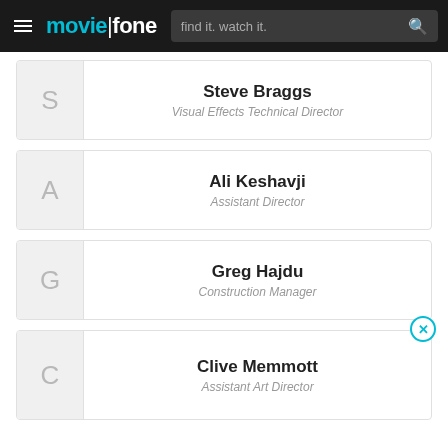moviefone — find it. watch it.
Steve Braggs
Visual Effects Technical Director
Ali Keshavji
Assistant Director
Greg Hajdu
Construction Manager
Clive Memmott
Assistant Art Director